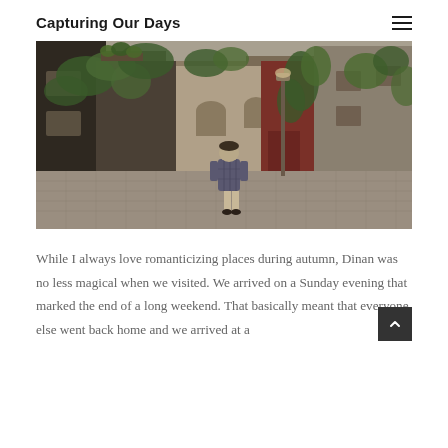Capturing Our Days
[Figure (photo): A person walking down a narrow cobblestone alley lined with old stone buildings covered in ivy and greenery, with shops and flower pots visible.]
While I always love romanticizing places during autumn, Dinan was no less magical when we visited. We arrived on a Sunday evening that marked the end of a long weekend. That basically meant that everyone else went back home and we arrived at a